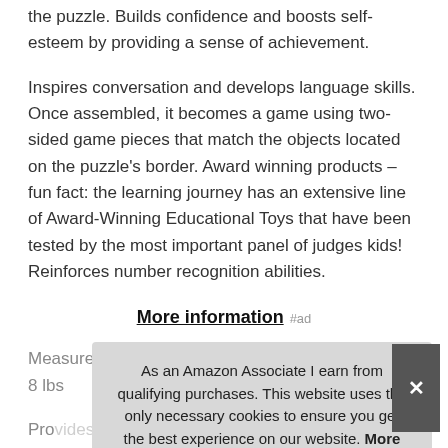the puzzle. Builds confidence and boosts self-esteem by providing a sense of achievement.
Inspires conversation and develops language skills. Once assembled, it becomes a game using two-sided game pieces that match the objects located on the puzzle's border. Award winning products – fun fact: the learning journey has an extensive line of Award-Winning Educational Toys that have been tested by the most important panel of judges kids! Reinforces number recognition abilities.
More information #ad
Measures 36" long x 10" wide x 24" high, weighs 1. 8 lbs
Pro... reco... inclu...
overall. You can also place a game piece over the object on
As an Amazon Associate I earn from qualifying purchases. This website uses the only necessary cookies to ensure you get the best experience on our website. More information